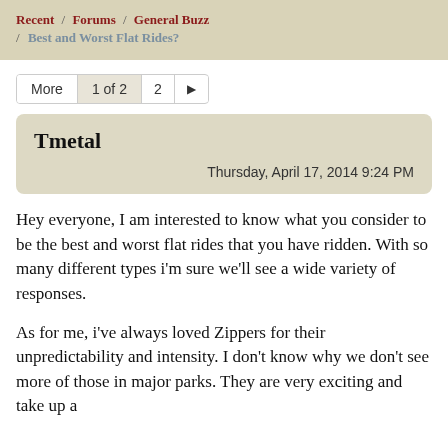Recent / Forums / General Buzz / Best and Worst Flat Rides?
More  1 of 2  2  ▶
Tmetal
Thursday, April 17, 2014 9:24 PM
Hey everyone, I am interested to know what you consider to be the best and worst flat rides that you have ridden. With so many different types i'm sure we'll see a wide variety of responses.
As for me, i've always loved Zippers for their unpredictability and intensity. I don't know why we don't see more of those in major parks. They are very exciting and take up a